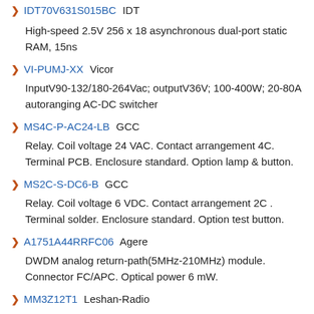IDT70V631S015BC IDT
High-speed 2.5V 256 x 18 asynchronous dual-port static RAM, 15ns
VI-PUMJ-XX Vicor
InputV90-132/180-264Vac; outputV36V; 100-400W; 20-80A autoranging AC-DC switcher
MS4C-P-AC24-LB GCC
Relay. Coil voltage 24 VAC. Contact arrangement 4C. Terminal PCB. Enclosure standard. Option lamp & button.
MS2C-S-DC6-B GCC
Relay. Coil voltage 6 VDC. Contact arrangement 2C . Terminal solder. Enclosure standard. Option test button.
A1751A44RRFC06 Agere
DWDM analog return-path(5MHz-210MHz) module. Connector FC/APC. Optical power 6 mW.
MM3Z12T1 Leshan-Radio
12 V, 5 mA, 200 mW, zener voltage regulator
SST39EF020-200-4LWH SST